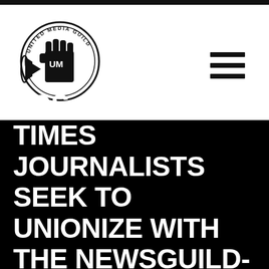[Figure (logo): United Media Guild logo — a raised fist holding a megaphone inside a circular badge with the text 'UNITED MEDIA GUILD' around the edge and 'UM' on the fist]
LOS ANGELES TIMES JOURNALISTS SEEK TO UNIONIZE WITH THE NEWSGUILD-CWA